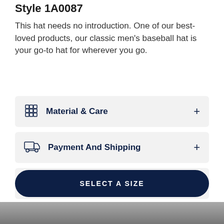Style 1A0087
This hat needs no introduction. One of our best-loved products, our classic men's baseball hat is your go-to hat for wherever you go.
Material & Care
Payment And Shipping
Gift Options
SELECT A SIZE
[Figure (photo): Bottom partial image strip of the product]